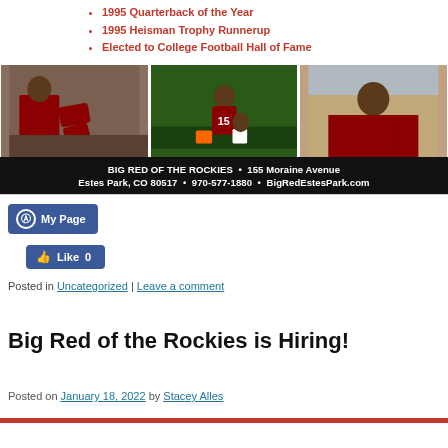1995 Quarterback of the Year
1995 Heisman Trophy Runnerup
Elected to College Football Hall of Fame
[Figure (photo): Three photos: person signing footballs, football player #15 in action, person in red shirt smiling]
BIG RED OF THE ROCKIES • 155 Moraine Avenue Estes Park, CO 80517 • 970-577-1880 • BigRedEstesPark.com
[Figure (screenshot): Facebook My Page button]
[Figure (screenshot): Facebook Like 0 button]
Posted in Uncategorized | Leave a comment
Big Red of the Rockies is Hiring!
Posted on January 18, 2022 by Stacey Alles